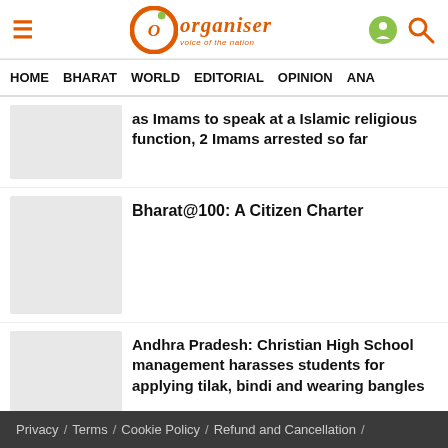Organiser – voice of the nation
HOME   BHARAT   WORLD   EDITORIAL   OPINION   ANA
as Imams to speak at a Islamic religious function, 2 Imams arrested so far
Bharat@100: A Citizen Charter
Andhra Pradesh: Christian High School management harasses students for applying tilak, bindi and wearing bangles
Privacy / Terms / Cookie Policy / Refund and Cancellation /